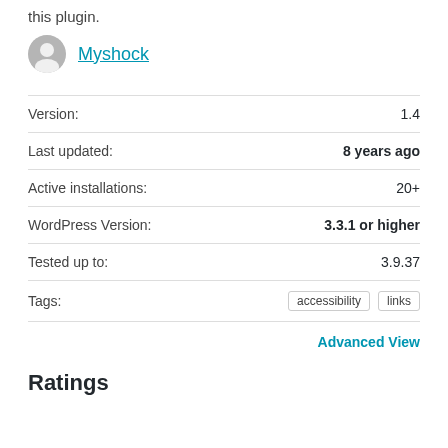this plugin.
Myshock
| Label | Value |
| --- | --- |
| Version: | 1.4 |
| Last updated: | 8 years ago |
| Active installations: | 20+ |
| WordPress Version: | 3.3.1 or higher |
| Tested up to: | 3.9.37 |
| Tags: | accessibility  links |
Advanced View
Ratings